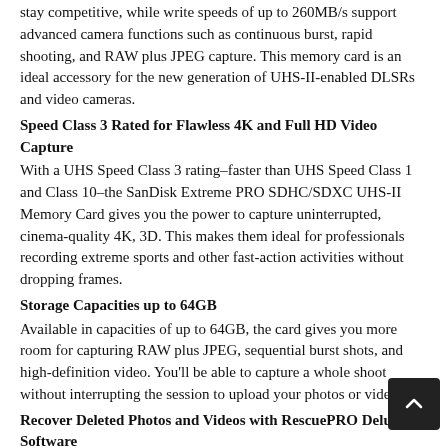stay competitive, while write speeds of up to 260MB/s support advanced camera functions such as continuous burst, rapid shooting, and RAW plus JPEG capture. This memory card is an ideal accessory for the new generation of UHS-II-enabled DLSRs and video cameras.
Speed Class 3 Rated for Flawless 4K and Full HD Video Capture
With a UHS Speed Class 3 rating–faster than UHS Speed Class 1 and Class 10–the SanDisk Extreme PRO SDHC/SDXC UHS-II Memory Card gives you the power to capture uninterrupted, cinema-quality 4K, 3D. This makes them ideal for professionals recording extreme sports and other fast-action activities without dropping frames.
Storage Capacities up to 64GB
Available in capacities of up to 64GB, the card gives you more room for capturing RAW plus JPEG, sequential burst shots, and high-definition video. You'll be able to capture a whole shoot without interrupting the session to upload your photos or video.
Recover Deleted Photos and Videos with RescuePRO Deluxe Software
The card comes with an offer for a one-year subscription to RescuePRO Deluxe data recovery software. With RescuePRO Deluxe, it's easy to